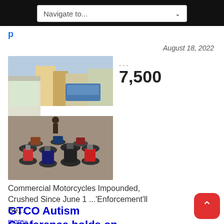Navigate to...
p
August 18, 2022
[Figure (photo): Photo of many commercial motorcycles impounded in a lot, with a large truck visible on the left and buildings in the background.]
...
7,500
Commercial Motorcycles Impounded, Crushed Since June 1 ...'Enforcement'll Be... more»
GTCO Autism Conference holds on